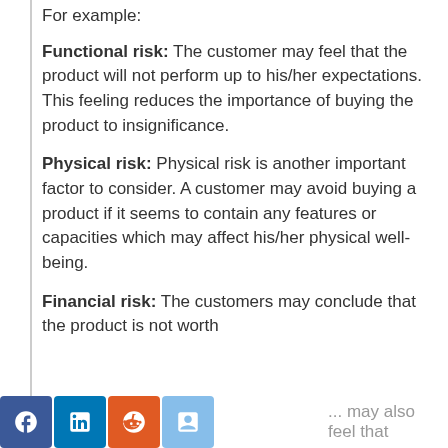For example:
Functional risk: The customer may feel that the product will not perform up to his/her expectations. This feeling reduces the importance of buying the product to insignificance.
Physical risk: Physical risk is another important factor to consider. A customer may avoid buying a product if it seems to contain any features or capacities which may affect his/her physical well-being.
Financial risk: The customers may conclude that the product is not worth ... may also feel that ...